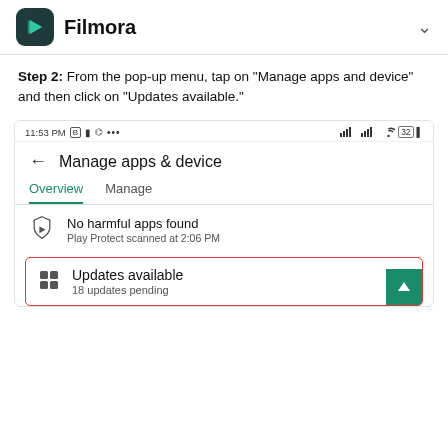Filmora
Step 2: From the pop-up menu, tap on "Manage apps and device" and then click on "Updates available."
[Figure (screenshot): Android phone screenshot showing Google Play Store 'Manage apps & device' screen with Overview and Manage tabs. Overview tab is active. A shield icon shows 'No harmful apps found / Play Protect scanned at 2:06 PM'. Below, a red-bordered box shows a grid icon, 'Updates available / 18 updates pending', with a teal up-arrow button at bottom right. Status bar shows 11:53 PM and signal/battery indicators.]